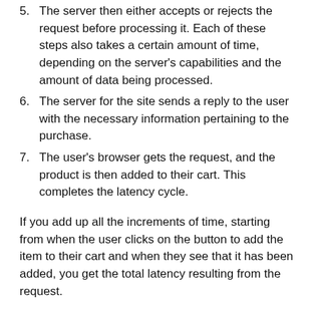5. The server then either accepts or rejects the request before processing it. Each of these steps also takes a certain amount of time, depending on the server's capabilities and the amount of data being processed.
6. The server for the site sends a reply to the user with the necessary information pertaining to the purchase.
7. The user's browser gets the request, and the product is then added to their cart. This completes the latency cycle.
If you add up all the increments of time, starting from when the user clicks on the button to add the item to their cart and when they see that it has been added, you get the total latency resulting from the request.
Explore a platform approach to security-driven networking for a significant reduction in network latency without sacrificing protection.